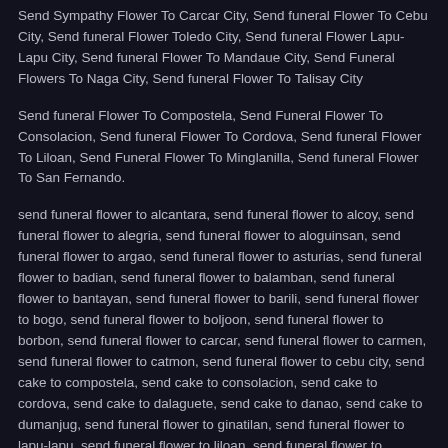Send Sympathy Flower To Carcar City, Send funeral Flower To Cebu City, Send funeral Flower Toledo City, Send funeral Flower Lapu-Lapu City, Send funeral Flower To Mandaue City, Send Funeral Flowers To Naga City, Send funeral Flower To Talisay City
Send funeral Flower To Compostela, Send Funeral Flower To Consolacion, Send funeral Flower To Cordova, Send funeral Flower To Liloan, Send Funeral Flower To Minglanilla, Send funeral Flower To San Fernando.
send funeral flower to alcantara, send funeral flower to alcoy, send funeral flower to alegria, send funeral flower to aloguinsan, send funeral flower to argao, send funeral flower to asturias, send funeral flower to badian, send funeral flower to balamban, send funeral flower to bantayan, send funeral flower to barili, send funeral flower to bogo, send funeral flower to boljoon, send funeral flower to borbon, send funeral flower to carcar, send funeral flower to carmen, send funeral flower to catmon, send funeral flower to cebu city, send cake to compostela, send cake to consolacion, send cake to cordova, send cake to dalaguete, send cake to danao, send cake to dumanjug, send funeral flower to ginatilan, send funeral flower to lapu-lapu, send funeral flower to liloan, send funeral flower to madridejos, send funeral flower to malabuyoc, send funeral flower to mandaue, send funeral flower to medellin, send funeral flower to minglanilla, send funeral flower to moalboal, send funeral flower to naga, send funeral flower to oslob, send funeral flower to pilar, send cake to pinamungaian, send cake to poro, send cake to